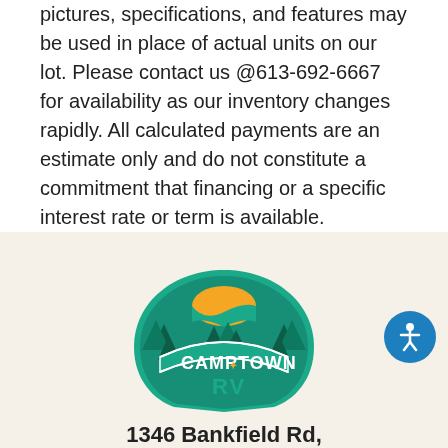pictures, specifications, and features may be used in place of actual units on our lot. Please contact us @613-692-6667 for availability as our inventory changes rapidly. All calculated payments are an estimate only and do not constitute a commitment that financing or a specific interest rate or term is available.
[Figure (logo): Camp Town RV logo — teal arch with pine trees, orange sun/wave graphic, white text reading CAMP TOWN RV]
1346 Bankfield Rd,